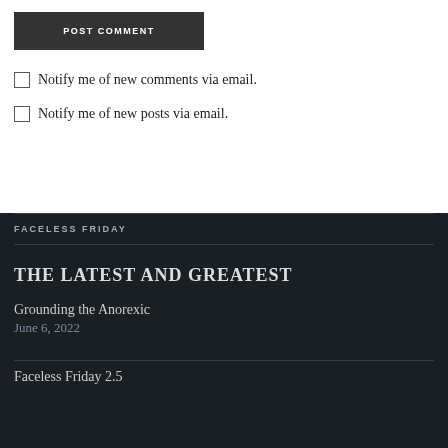POST COMMENT
Notify me of new comments via email.
Notify me of new posts via email.
FACELESS FRIDAY
THE LATEST AND GREATEST
Grounding the Anorexic
June 6, 2022
Faceless Friday 2.5